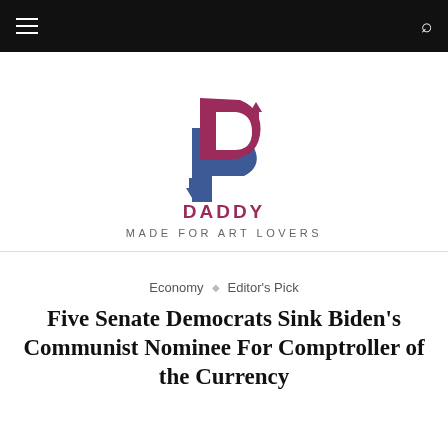[Figure (logo): Daddy of Income logo — stylized DP monogram with purple/maroon upward arrow and blue downward arrow, text DADDY OF INCOME below]
MADE FOR ART LOVERS
Economy  ◇  Editor's Pick
Five Senate Democrats Sink Biden's Communist Nominee For Comptroller of the Currency